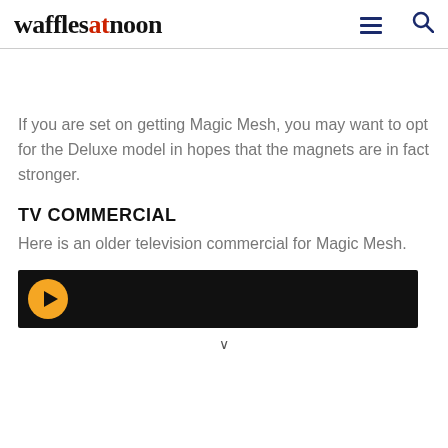wafflesatnoon
If you are set on getting Magic Mesh, you may want to opt for the Deluxe model in hopes that the magnets are in fact stronger.
TV COMMERCIAL
Here is an older television commercial for Magic Mesh.
[Figure (screenshot): Video thumbnail with black background and a partial circular logo/image visible at the left side]